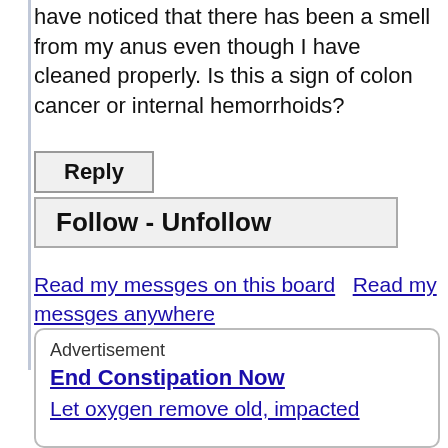have noticed that there has been a smell from my anus even though I have cleaned properly. Is this a sign of colon cancer or internal hemorrhoids?
Reply
Follow - Unfollow
Read my messges on this board   Read my messges anywhere
Advertisement
End Constipation Now
Let oxygen remove old, impacted feces...